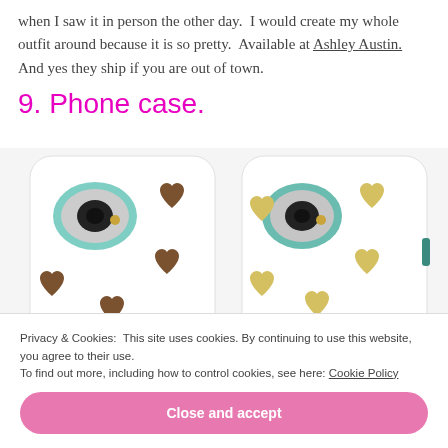when I saw it in person the other day. I would create my whole outfit around because it is so pretty. Available at Ashley Austin. And yes they ship if you are out of town.
9. Phone case.
[Figure (photo): Two iPhone cases side by side on white background; left case is white with brown heart pattern and mint camera ring, right case is white with yellow/gold heart pattern and mint/teal camera ring.]
Privacy & Cookies: This site uses cookies. By continuing to use this website, you agree to their use.
To find out more, including how to control cookies, see here: Cookie Policy
Close and accept